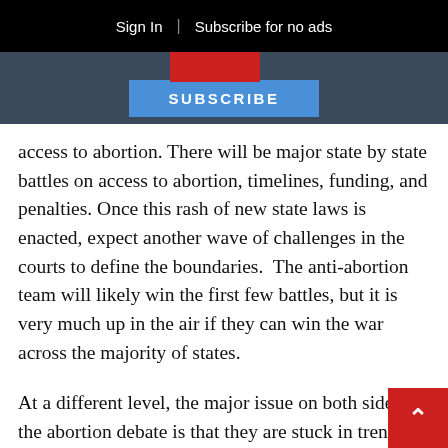Sign In | Subscribe for no ads
[Figure (screenshot): Navigation bar with red logo box and blue SUBSCRIBE button]
access to abortion. There will be major state by state battles on access to abortion, timelines, funding, and penalties. Once this rash of new state laws is enacted, expect another wave of challenges in the courts to define the boundaries.  The anti-abortion team will likely win the first few battles, but it is very much up in the air if they can win the war across the majority of states.
At a different level, the major issue on both sides of the abortion debate is that they are stuck in trench warfare in terms of language. The issue of ending a pregnancy early is called ‘abortion’ – a very boring  and technical term that does not evoke emotions. One side is ‘pro